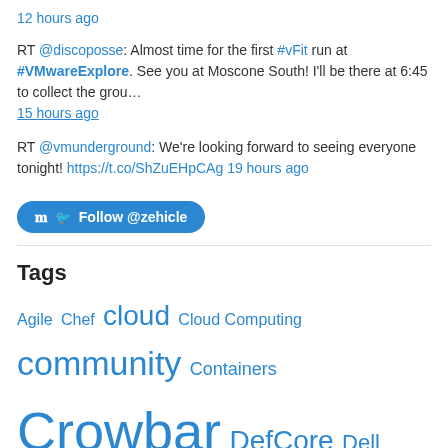12 hours ago
RT @discoposse: Almost time for the first #vFit run at #VMwareExplore. See you at Moscone South! I'll be there at 6:45 to collect the grou…
15 hours ago
RT @vmunderground: We're looking forward to seeing everyone tonight! https://t.co/ShZuEHpCAg 19 hours ago
Follow @zehicle
Tags
Agile Chef cloud Cloud Computing community Containers Crowbar DefCore Dell DevOps Digital Rebar Docker edge computing essex hadoop Kubernetes Lean meetup OpenCrowbar Open Source OpenStack operations